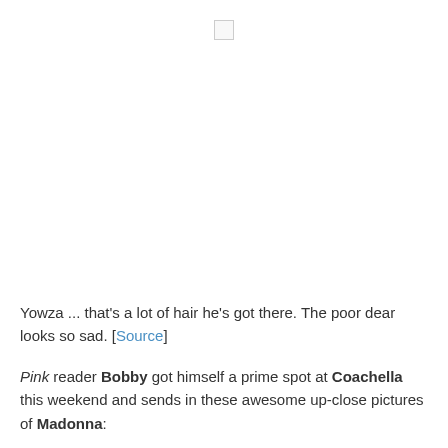[Figure (photo): A small image placeholder icon at the top center of the page]
Yowza ... that's a lot of hair he's got there. The poor dear looks so sad. [Source]
Pink reader Bobby got himself a prime spot at Coachella this weekend and sends in these awesome up-close pictures of Madonna: